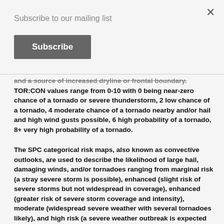Subscribe to our mailing list
Subscribe
and a source of increased dryline or frontal boundary. TOR:CON values range from 0-10 with 0 being near-zero chance of a tornado or severe thunderstorm, 2 low chance of a tornado, 4 moderate chance of a tornado nearby and/or hail and high wind gusts possible, 6 high probability of a tornado, 8+ very high probability of a tornado.
The SPC categorical risk maps, also known as convective outlooks, are used to describe the likelihood of large hail, damaging winds, and/or tornadoes ranging from marginal risk (a stray severe storm is possible), enhanced (slight risk of severe storms but not widespread in coverage), enhanced (greater risk of severe storm coverage and intensity), moderate (widespread severe weather with several tornadoes likely), and high risk (a severe weather outbreak is expected from numerous intense tornadoes). A Day 1